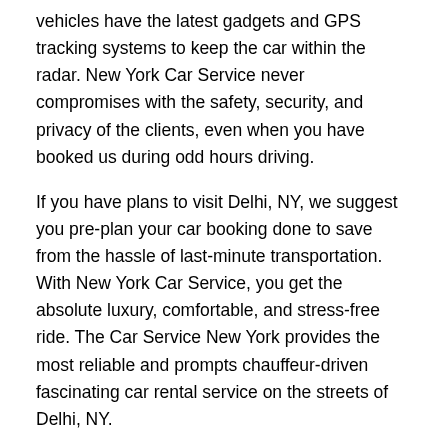vehicles have the latest gadgets and GPS tracking systems to keep the car within the radar. New York Car Service never compromises with the safety, security, and privacy of the clients, even when you have booked us during odd hours driving.
If you have plans to visit Delhi, NY, we suggest you pre-plan your car booking done to save from the hassle of last-minute transportation. With New York Car Service, you get the absolute luxury, comfortable, and stress-free ride. The Car Service New York provides the most reliable and prompts chauffeur-driven fascinating car rental service on the streets of Delhi, NY.